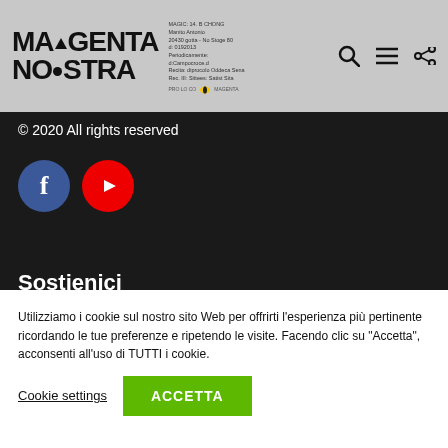[Figure (logo): Magenta Nostra logo with triangle accent, small info text, Pro Loco Magenta badge with bee icon]
[Figure (infographic): Search icon, hamburger menu icon, and share icon in header]
© 2020 All rights reserved
[Figure (infographic): Facebook circular blue button with 'f' icon and YouTube circular red button with play icon]
Sostienici
Attiva le Notifiche
Utilizziamo i cookie sul nostro sito Web per offrirti l'esperienza più pertinente ricordando le tue preferenze e ripetendo le visite. Facendo clic su "Accetta", acconsenti all'uso di TUTTI i cookie.
Cookie settings
ACCETTA